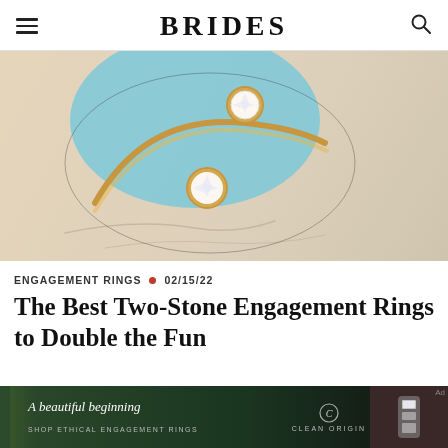BRIDES
[Figure (photo): Close-up photo of a two-stone diamond ring with a gold band on a light blue oval backdrop and beige background with decorative line art]
ENGAGEMENT RINGS • 02/15/22
The Best Two-Stone Engagement Rings to Double the Fun
[Figure (photo): Advertisement banner showing a hand with diamond rings, text 'A beautiful beginning', 'SHOP ETHICAL ENGAGEMENT RINGS', and 'CLEAN ORIGIN' logo]